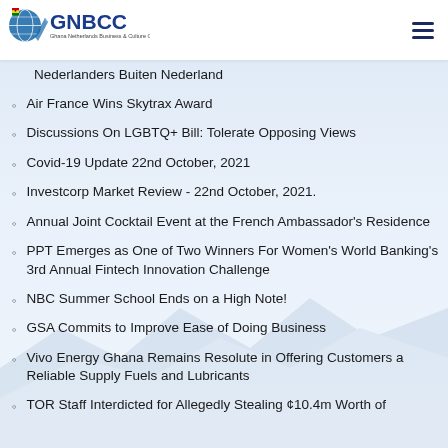GNBCC – Ghana Netherlands Business & Culture Council
Nederlanders Buiten Nederland
Air France Wins Skytrax Award
Discussions On LGBTQ+ Bill: Tolerate Opposing Views
Covid-19 Update 22nd October, 2021
Investcorp Market Review - 22nd October, 2021.
Annual Joint Cocktail Event at the French Ambassador's Residence
PPT Emerges as One of Two Winners For Women's World Banking's 3rd Annual Fintech Innovation Challenge
NBC Summer School Ends on a High Note!
GSA Commits to Improve Ease of Doing Business
Vivo Energy Ghana Remains Resolute in Offering Customers a Reliable Supply Fuels and Lubricants
TOR Staff Interdicted for Allegedly Stealing ¢10.4m Worth of